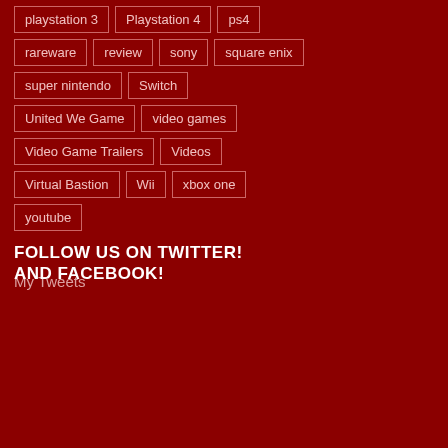playstation 3
Playstation 4
ps4
rareware
review
sony
square enix
super nintendo
Switch
United We Game
video games
Video Game Trailers
Videos
Virtual Bastion
Wii
xbox one
youtube
FOLLOW US ON TWITTER!
My Tweets
AND FACEBOOK!